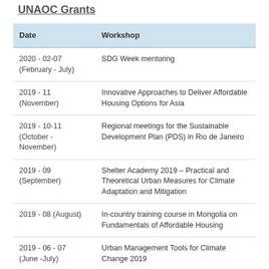UNAOC Grants
| Date | Workshop |
| --- | --- |
| 2020 - 02-07 (February - July) | SDG Week mentoring |
| 2019 - 11 (November) | Innovative Approaches to Deliver Affordable Housing Options for Asia |
| 2019 - 10-11 (October - November) | Regional meetings for the Sustainable Development Plan (PDS) in Rio de Janeiro |
| 2019 - 09 (September) | Shelter Academy 2019 – Practical and Theoretical Urban Measures for Climate Adaptation and Mitigation |
| 2019 - 08 (August) | In-country training course in Mongolia on Fundamentals of Affordable Housing |
| 2019 - 06 - 07 (June -July) | Urban Management Tools for Climate Change 2019 |
| 2019 - 05-07 (May | Accountability materials for participants on |